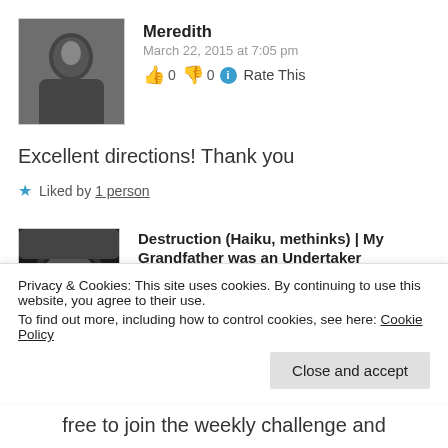[Figure (photo): User avatar photo of Meredith, person with dark clothing]
Meredith
March 22, 2015 at 7:05 pm
👍 0 👎 0 ℹ Rate This
Excellent directions! Thank you
★ Liked by 1 person
[Figure (photo): User avatar photo, black and white close-up portrait]
Destruction (Haiku, methinks) | My Grandfather was an Undertaker
April 10, 2015 at 9:36 am
👍 0 👎 0 ℹ Rate This
Privacy & Cookies: This site uses cookies. By continuing to use this website, you agree to their use.
To find out more, including how to control cookies, see here: Cookie Policy
Close and accept
free to join the weekly challenge and